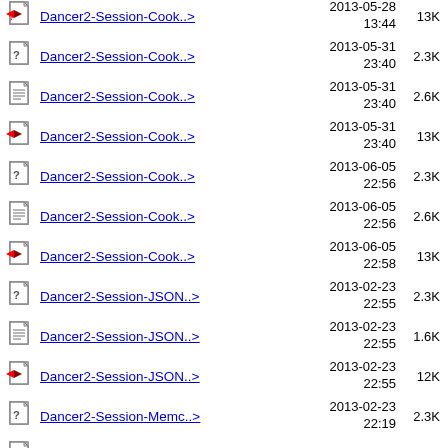Dancer2-Session-Cook..> 2013-05-28 13:44 13K
Dancer2-Session-Cook..> 2013-05-31 23:40 2.3K
Dancer2-Session-Cook..> 2013-05-31 23:40 2.6K
Dancer2-Session-Cook..> 2013-05-31 23:40 13K
Dancer2-Session-Cook..> 2013-06-05 22:56 2.3K
Dancer2-Session-Cook..> 2013-06-05 22:56 2.6K
Dancer2-Session-Cook..> 2013-06-05 22:58 13K
Dancer2-Session-JSON..> 2013-02-23 22:55 2.3K
Dancer2-Session-JSON..> 2013-02-23 22:55 1.6K
Dancer2-Session-JSON..> 2013-02-23 22:55 12K
Dancer2-Session-Memc..> 2013-02-23 22:19 2.3K
Dancer2-Session-Memc..> 2013-02-23 1.3K